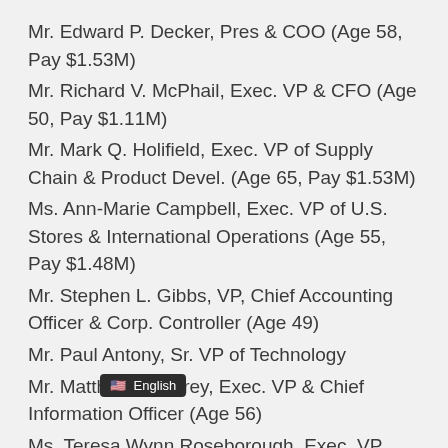Mr. Edward P. Decker, Pres & COO (Age 58, Pay $1.53M)
Mr. Richard V. McPhail, Exec. VP & CFO (Age 50, Pay $1.11M)
Mr. Mark Q. Holifield, Exec. VP of Supply Chain & Product Devel. (Age 65, Pay $1.53M)
Ms. Ann-Marie Campbell, Exec. VP of U.S. Stores & International Operations (Age 55, Pay $1.48M)
Mr. Stephen L. Gibbs, VP, Chief Accounting Officer & Corp. Controller (Age 49)
Mr. Paul Antony, Sr. VP of Technology
Mr. Matthew A. Carey, Exec. VP & Chief Information Officer (Age 56)
Ms. Teresa Wynn Roseborough, Exec. VP, Gen. Counsel & Co... (Age 62)
... Director of Corp. Communications